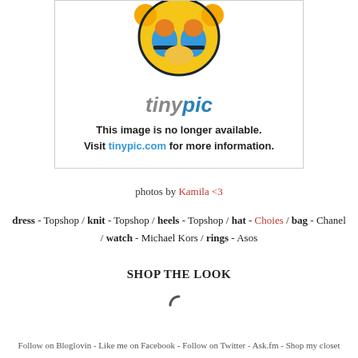[Figure (illustration): Tinypic placeholder image with cartoon mascot and logo. Text reads: This image is no longer available. Visit tinypic.com for more information.]
photos by Kamila <3
dress - Topshop / knit - Topshop / heels - Topshop / hat - Choies / bag - Chanel / watch - Michael Kors / rings - Asos
SHOP THE LOOK
[Figure (other): Loading spinner icon]
Follow on Bloglovin - Like me on Facebook - Follow on Twitter - Ask.fm - Shop my closet